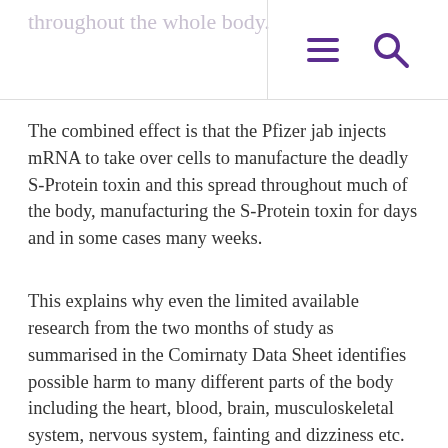throughout the whole body.
The combined effect is that the Pfizer jab injects mRNA to take over cells to manufacture the deadly S-Protein toxin and this spread throughout much of the body, manufacturing the S-Protein toxin for days and in some cases many weeks.
This explains why even the limited available research from the two months of study as summarised in the Comirnaty Data Sheet identifies possible harm to many different parts of the body including the heart, blood, brain, musculoskeletal system, nervous system, fainting and dizziness etc.